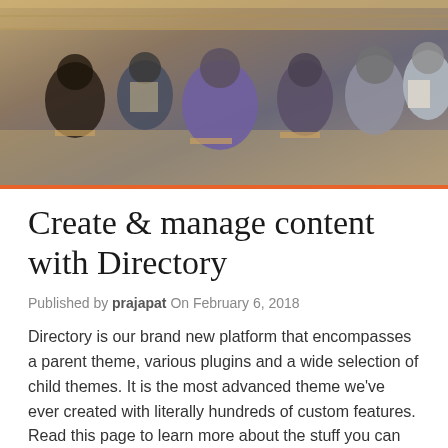[Figure (photo): Community meeting scene with people seated in chairs viewed from behind, in what appears to be a gymnasium or community hall setting]
Create & manage content with Directory
Published by prajapat On February 6, 2018
Directory is our brand new platform that encompasses a parent theme, various plugins and a wide selection of child themes. It is the most advanced theme we've ever created with literally hundreds of custom features. Read this page to learn more about the stuff you can create and manage with...
Read more »